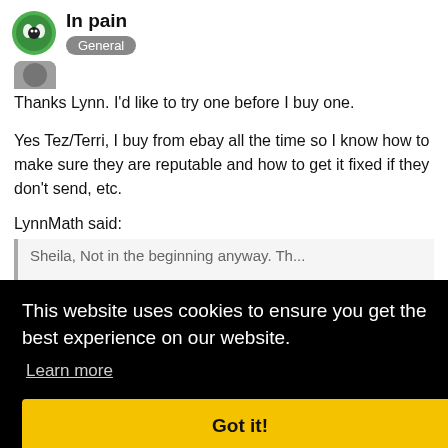In pain — General
Thanks Lynn. I'd like to try one before I buy one.
Yes Tez/Terri, I buy from ebay all the time so I know how to make sure they are reputable and how to get it fixed if they don't send, etc.
LynnMath said:
[quoted text partially visible]
This website uses cookies to ensure you get the best experience on our website. Learn more Got it!